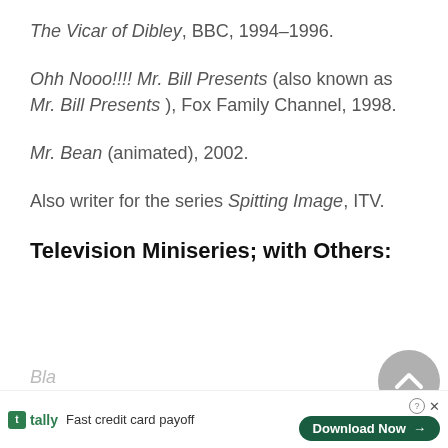The Vicar of Dibley, BBC, 1994–1996.
Ohh Nooo!!!! Mr. Bill Presents (also known as Mr. Bill Presents ), Fox Family Channel, 1998.
Mr. Bean (animated), 2002.
Also writer for the series Spitting Image, ITV.
Television Miniseries; with Others: